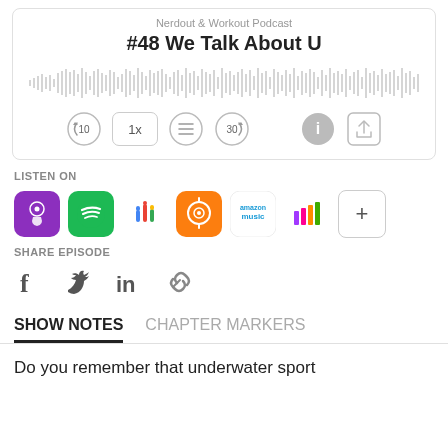Nerdout & Workout Podcast
#48 We Talk About U
[Figure (other): Audio waveform visualization showing podcast audio waveform in gray]
[Figure (other): Playback controls: rewind 10s, 1x speed, chapters list, forward 30s, info, share]
LISTEN ON
[Figure (other): Podcast platform icons: Apple Podcasts (purple), Spotify (green), Google Podcasts (multicolor), Overcast (orange), Amazon Music, Deezer (multicolor bars), plus button]
SHARE EPISODE
[Figure (other): Social share icons: Facebook (f), Twitter bird, LinkedIn (in), link/chain icon]
SHOW NOTES	CHAPTER MARKERS
Do you remember that underwater sport